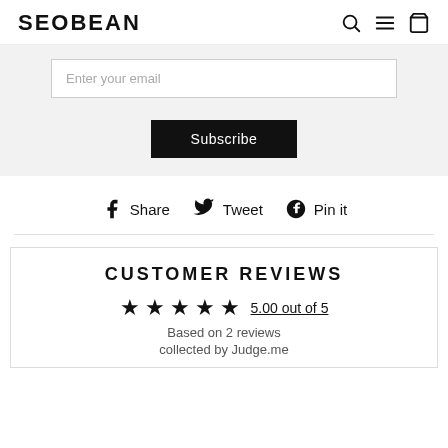SEOBEAN
Enter your email
Subscribe
Share  Tweet  Pin it
CUSTOMER REVIEWS
5.00 out of 5
Based on 2 reviews
collected by Judge.me